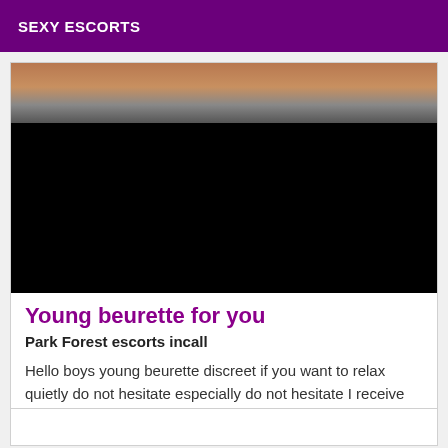SEXY ESCORTS
[Figure (photo): Partial photo showing legs and midsection of a person, with lower portion blacked out]
Young beurette for you
Park Forest escorts incall
Hello boys young beurette discreet if you want to relax quietly do not hesitate especially do not hesitate I receive sure Park Forest